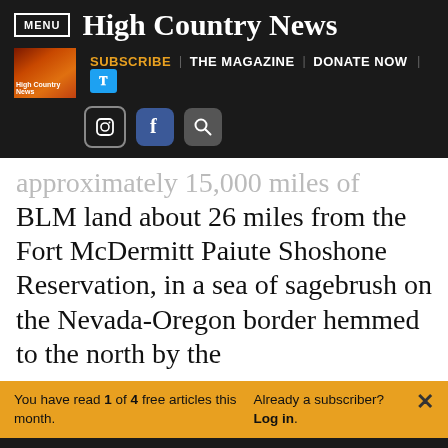MENU | High Country News
SUBSCRIBE | THE MAGAZINE | DONATE NOW
approximately 15,000 miles of BLM land about 26 miles from the Fort McDermitt Paiute Shoshone Reservation, in a sea of sagebrush on the Nevada-Oregon border hemmed to the north by the
You have read 1 of 4 free articles this month. Already a subscriber? Log in.
Support independent journalism. Subscribe